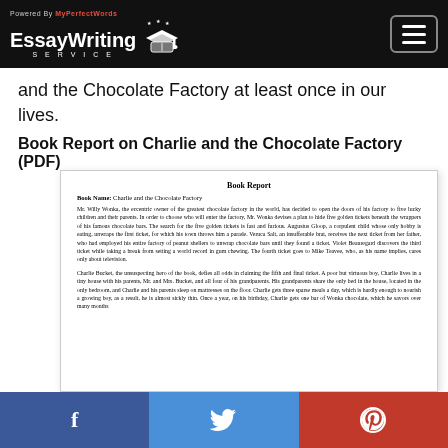Powered By MyPerfectWords EssayWriting SERVICE
and the Chocolate Factory at least once in our lives.
Book Report on Charlie and the Chocolate Factory (PDF)
[Figure (screenshot): A document preview showing a Book Report with title 'Book Report', book name 'Charlie and the Chocolate Factory', and body text describing the plot involving Willy Wonka's golden tickets and Charlie Bucket.]
Social share bar with Facebook, Twitter, and Pinterest icons